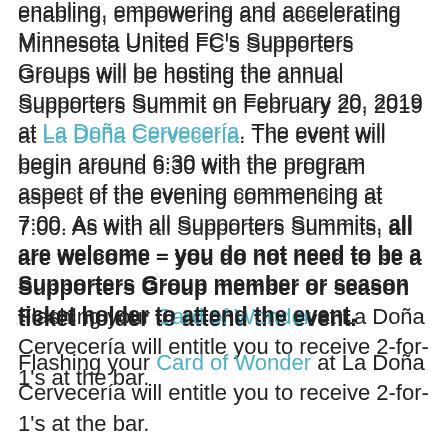enabling, empowering and accelerating Minnesota United FC's Supporters Groups will be hosting the annual Supporters Summit on February 20, 2019 at La Doña Cervecería. The event will begin around 6:30 with the program aspect of the evening commencing at 7:00. As with all Supporters Summits, all are welcome – you do not need to be a Supporters Group member or season ticket holder to attend the event.
Flashing your Card of Wonder at La Doña Cervecería will entitle you to receive 2-for-1's at the bar.
As part of the Supporters Summit, there will be the component of elections, just as there was last year. Important things to note: in order to vote for the Board of Directors, a membership will be required as well as the purchase of a non-expiring